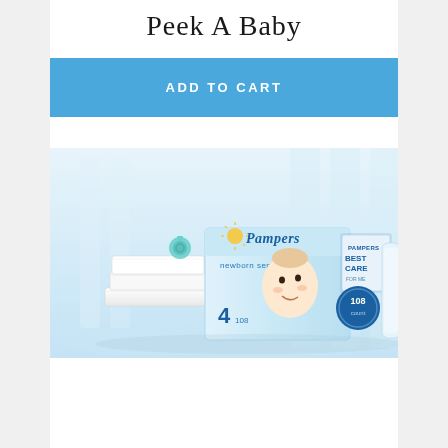Peek A Baby
ADD TO CART
[Figure (photo): Pampers Sensitive diapers box (size 4, 108 count) displayed with folded white towels and a teal pacifier on a light blue background. Pampers Best Care logo visible on right side. A smiling baby is shown on the box.]